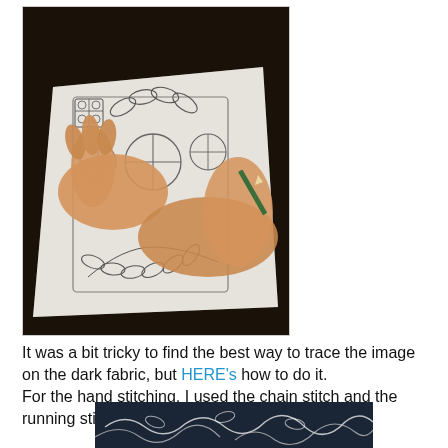[Figure (photo): Hands tracing an embroidery pattern onto paper on dark fabric, using a pencil. The pattern shows decorative folk/floral motifs including leaves, circles, and geometric shapes.]
It was a bit tricky to find the best way to trace the image on the dark fabric, but HERE's how to do it.
For the hand stitching, I used the chain stitch and the running stitch.
[Figure (photo): Partial view of dark blue fabric with white hand-stitched embroidery pattern visible at bottom of page.]